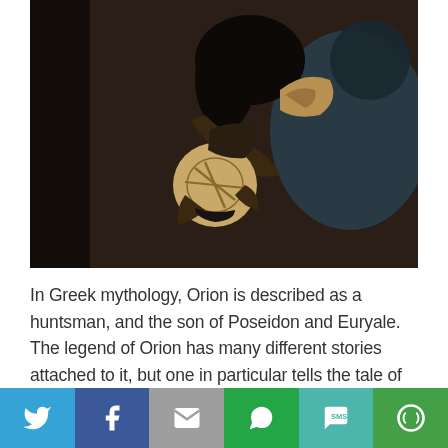[Figure (photo): A person holding a circular clay or stone carved artifact, examining it closely. Dark indoor setting.]
In Greek mythology, Orion is described as a huntsman, and the son of Poseidon and Euryale. The legend of Orion has many different stories attached to it, but one in particular tells the tale of how Orion becomes a constellation. According to the story, Orion sets out on a hunt with Artemis and her mother Leto, and during this time he exclaims that he will kill every beast on Earth. In response, Mother Earth sends a giant scorpion to kill the hunter,
[Figure (infographic): Social media sharing bar with icons for Twitter, Facebook, Email, WhatsApp, SMS, and More options]